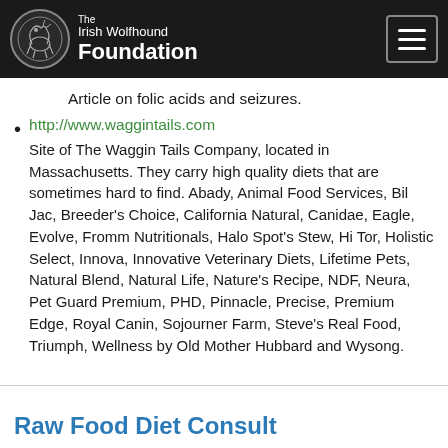The Irish Wolfhound Foundation
Article on folic acids and seizures.
http://www.waggintails.com
Site of The Waggin Tails Company, located in Massachusetts. They carry high quality diets that are sometimes hard to find. Abady, Animal Food Services, Bil Jac, Breeder's Choice, California Natural, Canidae, Eagle, Evolve, Fromm Nutritionals, Halo Spot's Stew, Hi Tor, Holistic Select, Innova, Innovative Veterinary Diets, Lifetime Pets, Natural Blend, Natural Life, Nature's Recipe, NDF, Neura, Pet Guard Premium, PHD, Pinnacle, Precise, Premium Edge, Royal Canin, Sojourner Farm, Steve's Real Food, Triumph, Wellness by Old Mother Hubbard and Wysong.
Raw Food Diet Consultation